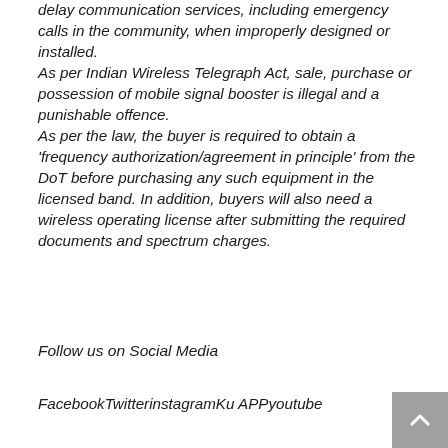delay communication services, including emergency calls in the community, when improperly designed or installed. As per Indian Wireless Telegraph Act, sale, purchase or possession of mobile signal booster is illegal and a punishable offence. As per the law, the buyer is required to obtain a 'frequency authorization/agreement in principle' from the DoT before purchasing any such equipment in the licensed band. In addition, buyers will also need a wireless operating license after submitting the required documents and spectrum charges.
Follow us on Social Media
FacebookTwitterinstagramKu APPyoutube